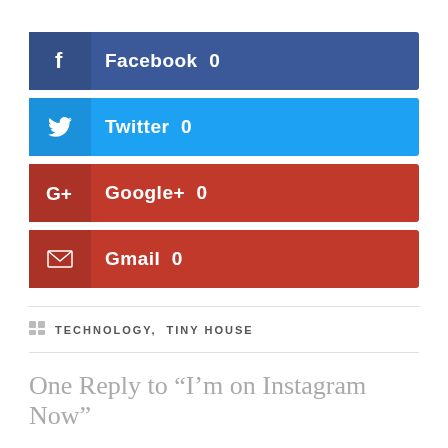[Figure (infographic): Social share buttons: Facebook 0, Twitter 0, Google+ 0, Gmail 0]
TECHNOLOGY, TINY HOUSE
One Reply to “I’m on Instagram Now”
Jessica